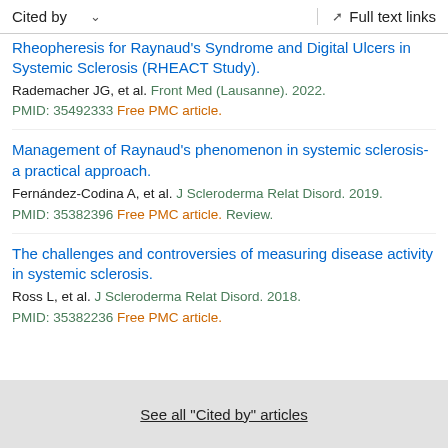Cited by   ∨   Full text links
Rheopheresis for Raynaud's Syndrome and Digital Ulcers in Systemic Sclerosis (RHEACT Study).
Rademacher JG, et al. Front Med (Lausanne). 2022.
PMID: 35492333 Free PMC article.
Management of Raynaud's phenomenon in systemic sclerosis-a practical approach.
Fernández-Codina A, et al. J Scleroderma Relat Disord. 2019.
PMID: 35382396 Free PMC article. Review.
The challenges and controversies of measuring disease activity in systemic sclerosis.
Ross L, et al. J Scleroderma Relat Disord. 2018.
PMID: 35382236 Free PMC article.
See all "Cited by" articles